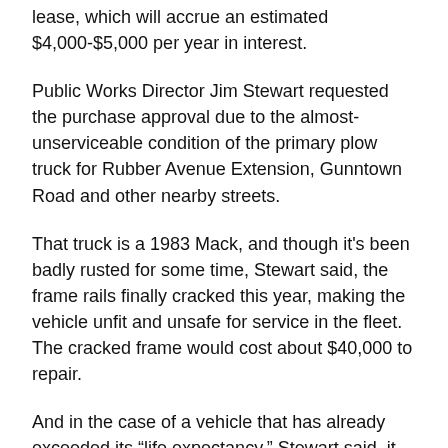lease, which will accrue an estimated $4,000-$5,000 per year in interest.
Public Works Director Jim Stewart requested the purchase approval due to the almost-unserviceable condition of the primary plow truck for Rubber Avenue Extension, Gunntown Road and other nearby streets.
That truck is a 1983 Mack, and though it's been badly rusted for some time, Stewart said, the frame rails finally cracked this year, making the vehicle unfit and unsafe for service in the fleet. The cracked frame would cost about $40,000 to repair.
And in the case of a vehicle that has already exceeded its “life expectancy,” Stewart said, it makes little sense to pay big bucks for a structural repair when the engine or transmission could go at any moment.